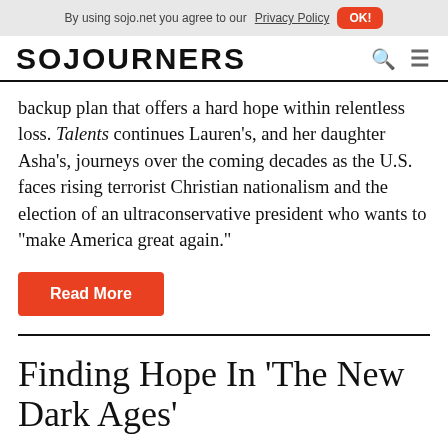By using sojo.net you agree to our Privacy Policy  OK!
SOJOURNERS
backup plan that offers a hard hope within relentless loss. Talents continues Lauren's, and her daughter Asha's, journeys over the coming decades as the U.S. faces rising terrorist Christian nationalism and the election of an ultraconservative president who wants to “make America great again.”
Read More
Finding Hope In ‘The New Dark Ages’
by Jeania Ree V. Moore 04-21-2020